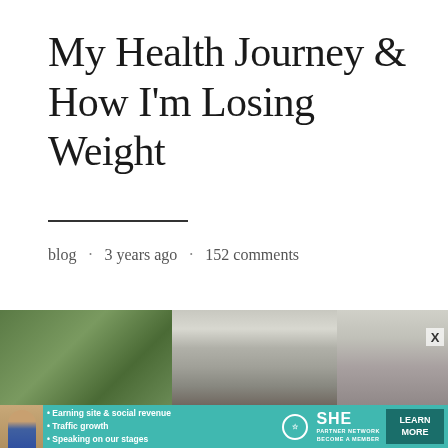My Health Journey & How I'm Losing Weight
blog · 3 years ago · 152 comments
[Figure (photo): Outdoor photo showing green trees on the left, a house facade with white-framed windows and dark shutters in the center, and additional architectural details on the right. A person is partially visible in the lower center area.]
[Figure (advertisement): SHE Partner Network advertisement banner in teal/turquoise color with a woman's portrait on the left, bullet points reading 'Earning site & social revenue', 'Traffic growth', 'Speaking on our stages', the SHE logo in the center, and a dark 'LEARN MORE' button on the right.]